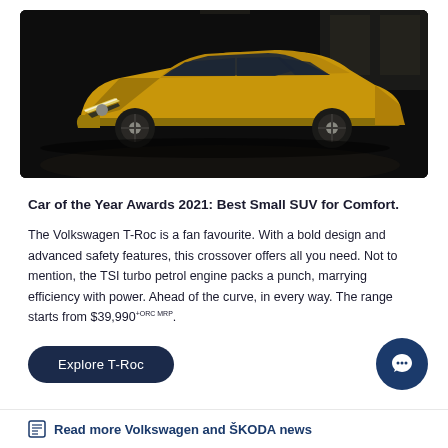[Figure (photo): A gold/yellow Volkswagen T-Roc SUV photographed in a dark parking garage setting, facing slightly left, with dramatic lighting highlighting the front and side of the vehicle.]
Car of the Year Awards 2021: Best Small SUV for Comfort.
The Volkswagen T-Roc is a fan favourite. With a bold design and advanced safety features, this crossover offers all you need. Not to mention, the TSI turbo petrol engine packs a punch, marrying efficiency with power. Ahead of the curve, in every way. The range starts from $39,990+ORC MRP.
Explore T-Roc
Read more Volkswagen and ŠKODA news